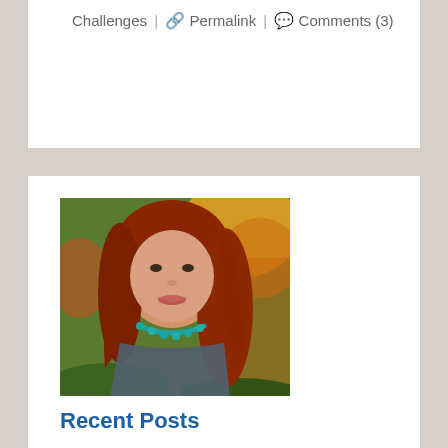Challenges | 🔗 Permalink | 💬 Comments (3)
[Figure (photo): Portrait photo of a woman with long red hair wearing a teal beaded necklace, outdoors with autumn foliage background]
Recent Posts
Victoria's Secret • Book Review: Still Life by Sarah Winman • Book Review: When Women Were Dragons by Kelly Barnhill • Book Review: Uprooted